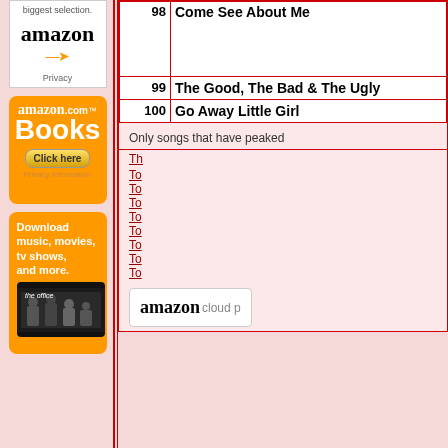[Figure (advertisement): Amazon advertisement with logo and text 'biggest selection.' and Privacy link]
[Figure (advertisement): Amazon.com Books advertisement with orange background and Click here button]
[Figure (advertisement): Amazon orange ad: Download music, movies, tv shows, and more. with The Office image]
| # | Title |
| --- | --- |
| 98 | Come See About Me |
| 99 | The Good, The Bad & The Ugly |
| 100 | Go Away Little Girl |
Only songs that have peaked
Th...
To...
To...
To...
To...
To...
To...
To...
To...
[Figure (logo): amazon cloud player logo]